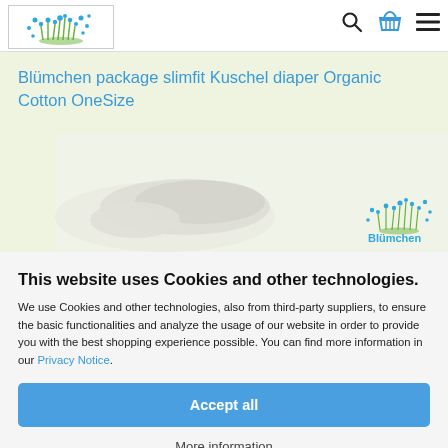[Figure (logo): Blümchen logo with decorative flowers/dots in blue and green]
[Figure (illustration): Navigation icons: search magnifying glass, shopping basket, hamburger menu]
Blümchen package slimfit Kuschel diaper Organic Cotton OneSize
[Figure (photo): Product photo of white cloth diaper and Blümchen logo watermark]
This website uses Cookies and other technologies.
We use Cookies and other technologies, also from third-party suppliers, to ensure the basic functionalities and analyze the usage of our website in order to provide you with the best shopping experience possible. You can find more information in our Privacy Notice.
Accept all
More information